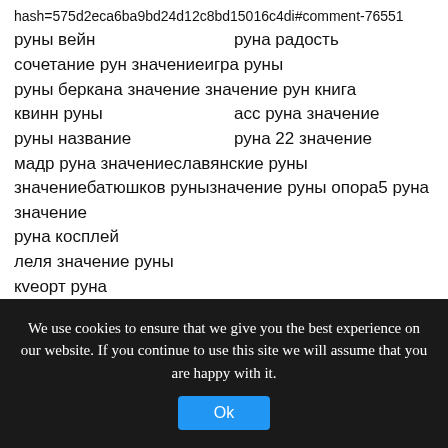hash=575d2eca6ba9bd24d12c8bd15016c4di#comment-76551
руны вейн    руна радость
сочетание рун значениеигра руны
руны беркана значение значение рун книга
квинн руны    асс руна значение
руны название    руна 22 значение
мадр руна значениеславянские руны
значениебатюшков рунызначение руны опора5 руна значение
руна косплей
леля значение руны
кveорт руна
We use cookies to ensure that we give you the best experience on our website. If you continue to use this site we will assume that you are happy with it.